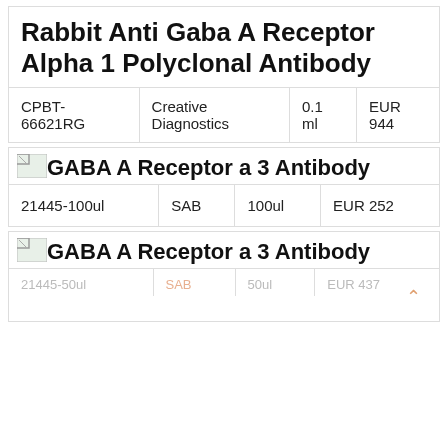Rabbit Anti Gaba A Receptor Alpha 1 Polyclonal Antibody
| ID | Supplier | Volume | Price |
| --- | --- | --- | --- |
| CPBT-66621RG | Creative Diagnostics | 0.1 ml | EUR 944 |
[Figure (photo): Small image thumbnail placeholder]
GABA A Receptor a 3 Antibody
| ID | Supplier | Volume | Price |
| --- | --- | --- | --- |
| 21445-100ul | SAB | 100ul | EUR 252 |
[Figure (photo): Small image thumbnail placeholder]
GABA A Receptor a 3 Antibody
| ID | Supplier | Volume | Price |
| --- | --- | --- | --- |
| 21445-50ul | SAB | 50ul | EUR 437 |